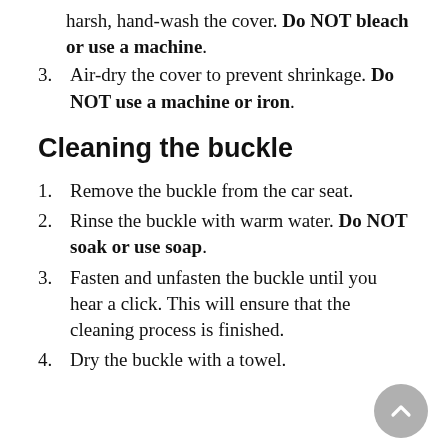harsh, hand-wash the cover. Do NOT bleach or use a machine.
3. Air-dry the cover to prevent shrinkage. Do NOT use a machine or iron.
Cleaning the buckle
1. Remove the buckle from the car seat.
2. Rinse the buckle with warm water. Do NOT soak or use soap.
3. Fasten and unfasten the buckle until you hear a click. This will ensure that the cleaning process is finished.
4. Dry the buckle with a towel.